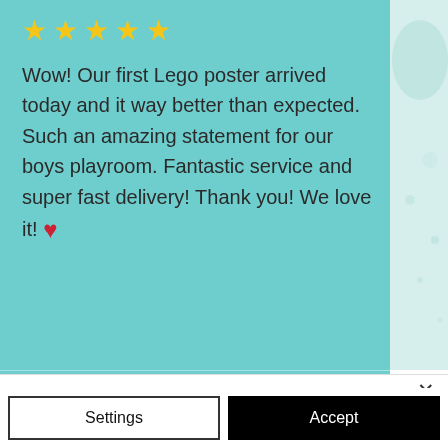[Figure (screenshot): 5-star review on teal background reading: Wow! Our first Lego poster arrived today and it way better than expected. Such an amazing statement for our boys playroom. Fantastic service and super fast delivery! Thank you! We love it! (with red heart emoji)]
Emily   8 months ago
[Figure (screenshot): 5 yellow stars rating for Emily's review]
We use cookies on our website to see how you interact with it. By accepting, you agree to our use of such cookies. Privacy Policy
Settings
Accept